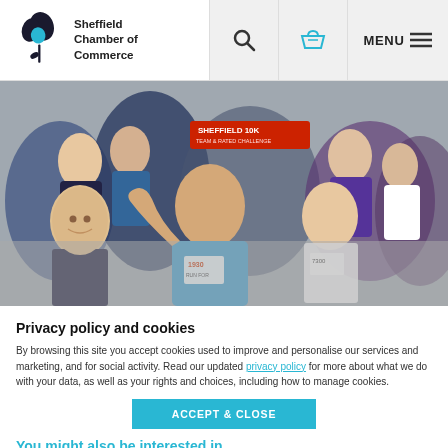Sheffield Chamber of Commerce
[Figure (photo): Crowd of runners at Sheffield 10K road race, smiling and waving at the camera. A banner reading 'SHEFFIELD 10K' is visible in the background. Runners wear numbered bibs. A man in a blue t-shirt is prominent in the centre foreground.]
Privacy policy and cookies
By browsing this site you accept cookies used to improve and personalise our services and marketing, and for social activity. Read our updated privacy policy for more about what we do with your data, as well as your rights and choices, including how to manage cookies.
ACCEPT & CLOSE
You might also be interested in